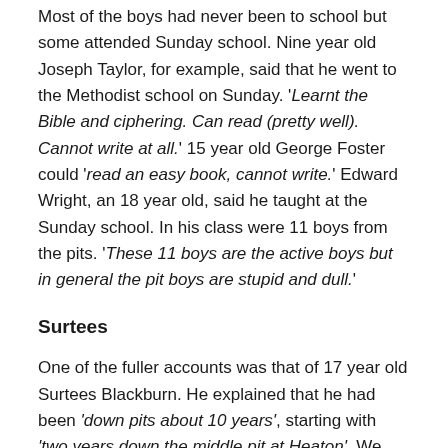Most of the boys had never been to school but some attended Sunday school. Nine year old Joseph Taylor, for example, said that he went to the Methodist school on Sunday. 'Learnt the Bible and ciphering. Can read (pretty well). Cannot write at all.' 15 year old George Foster could 'read an easy book, cannot write.' Edward Wright, an 18 year old, said he taught at the Sunday school. In his class were 11 boys from the pits. 'These 11 boys are the active boys but in general the pit boys are stupid and dull.'
Surtees
One of the fuller accounts was that of 17 year old Surtees Blackburn. He explained that he had been 'down pits about 10 years', starting with 'two years down the middle pit at Heaton'. We know that the pithead of Middle Pit was approximately where Rokeby Terrace is now.